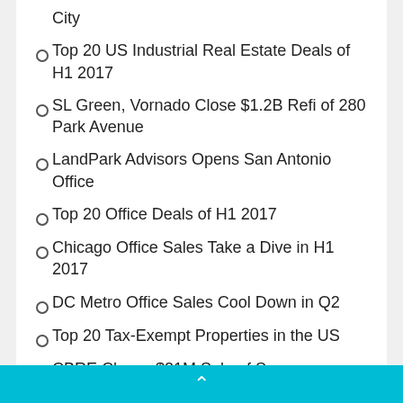City
Top 20 US Industrial Real Estate Deals of H1 2017
SL Green, Vornado Close $1.2B Refi of 280 Park Avenue
LandPark Advisors Opens San Antonio Office
Top 20 Office Deals of H1 2017
Chicago Office Sales Take a Dive in H1 2017
DC Metro Office Sales Cool Down in Q2
Top 20 Tax-Exempt Properties in the US
CBRE Closes $21M Sale of Secaucus Office Properties
Lockheed Martin Starts Work on $350M Colorado Plant
^